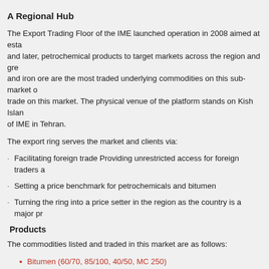A Regional Hub
The Export Trading Floor of the IME launched operation in 2008 aimed at establishing a platform for exporting oil products, and later, petrochemical products to target markets across the region and greater world. Crude oil, gas condensates, and iron ore are the most traded underlying commodities on this sub-market of IME. Foreign companies are permitted to trade on this market. The physical venue of the platform stands on Kish Island, a free trade zone, while operations are managed out of IME in Tehran.
The export ring serves the market and clients via:
Facilitating foreign trade Providing unrestricted access for foreign traders and companies
Setting a price benchmark for petrochemicals and bitumen
Turning the ring into a price setter in the region as the country is a major producer
Products
The commodities listed and traded in this market are as follows:
Bitumen (60/70, 85/100, 40/50, MC 250)
Vacuum bottom
Lube cut
Base oil